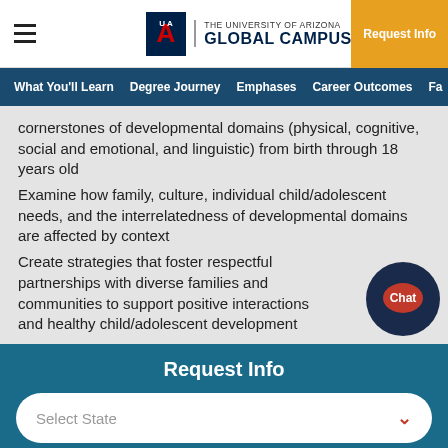THE UNIVERSITY OF ARIZONA GLOBAL CAMPUS | Request Info
What You'll Learn | Degree Journey | Emphases | Career Outcomes | Fa...
cornerstones of developmental domains (physical, cognitive, social and emotional, and linguistic) from birth through 18 years old
Examine how family, culture, individual child/adolescent needs, and the interrelatedness of developmental domains are affected by context
Create strategies that foster respectful partnerships with diverse families and communities to support positive interactions and healthy child/adolescent development
Request Info
Select State